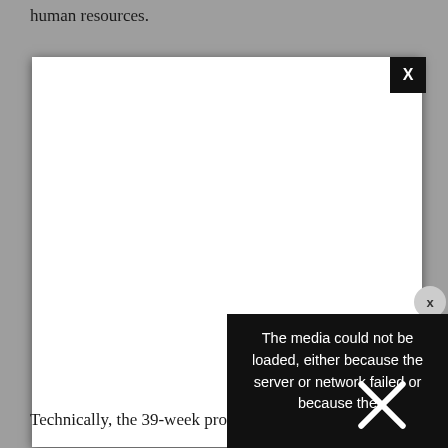human resources.
[Figure (screenshot): A media player modal overlay with a white background, a black close button (X) in the top right corner, and a black error message overlay reading 'The media could not be loaded, either because the server or network failed or because the' with a large X cross through the error box. A circular X close button appears on the right side.]
Technically, the 39-week program enables students